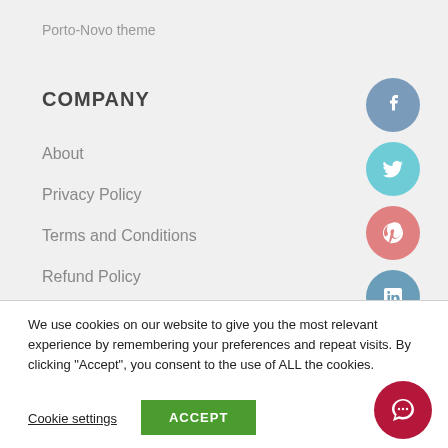Porto-Novo theme
COMPANY
About
Privacy Policy
Terms and Conditions
Refund Policy
[Figure (illustration): Four social media icon circles: Facebook (blue-grey), Twitter (cyan), Pinterest (pink-red), LinkedIn (blue-grey)]
We use cookies on our website to give you the most relevant experience by remembering your preferences and repeat visits. By clicking “Accept”, you consent to the use of ALL the cookies.
Cookie settings   ACCEPT